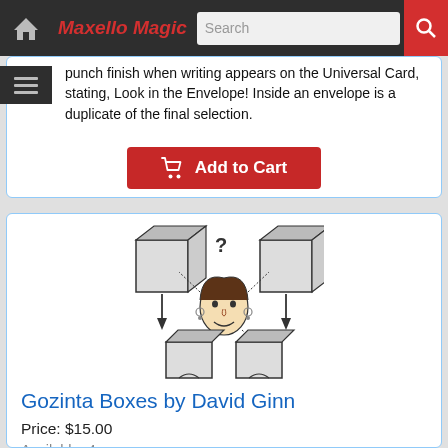Maxello Magic - Search
punch finish when writing appears on the Universal Card, stating, Look in the Envelope! Inside an envelope is a duplicate of the final selection.
[Figure (other): Red 'Add to Cart' button with shopping cart icon]
[Figure (illustration): Illustration of a woman surrounded by four boxes (Gozinta Boxes magic trick product image)]
Gozinta Boxes by David Ginn
Price: $15.00
Available: 4